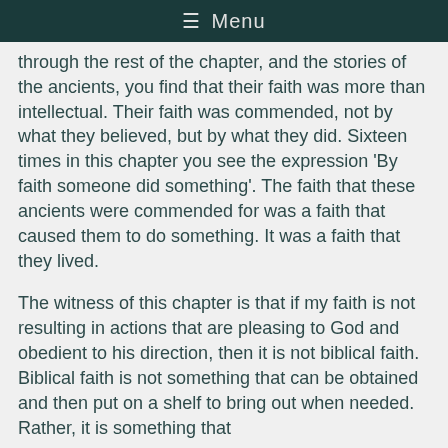≡ Menu
through the rest of the chapter, and the stories of the ancients, you find that their faith was more than intellectual. Their faith was commended, not by what they believed, but by what they did. Sixteen times in this chapter you see the expression 'By faith someone did something'. The faith that these ancients were commended for was a faith that caused them to do something. It was a faith that they lived.
The witness of this chapter is that if my faith is not resulting in actions that are pleasing to God and obedient to his direction, then it is not biblical faith. Biblical faith is not something that can be obtained and then put on a shelf to bring out when needed. Rather, it is something that